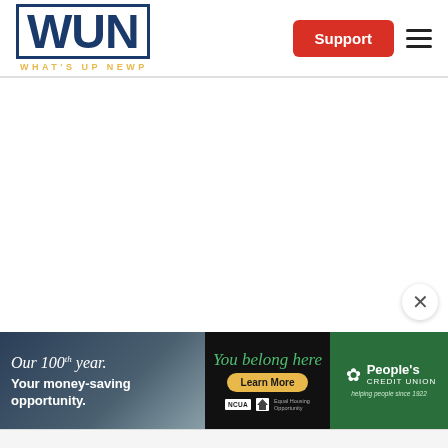WUN — What's Up Newp
[Figure (logo): WUN What's Up Newp logo — large blue bold letters WUN with border, yellow subtitle WHAT'S UP NEWP]
[Figure (other): Red Support button and hamburger menu icon in header]
[Figure (other): Close (X) button overlay at bottom right of content area]
[Figure (other): People's Credit Union advertisement banner: Our 100th year. Your money-saving opportunity. You belong here. Learn More. People's Credit Union helping people since 1922.]